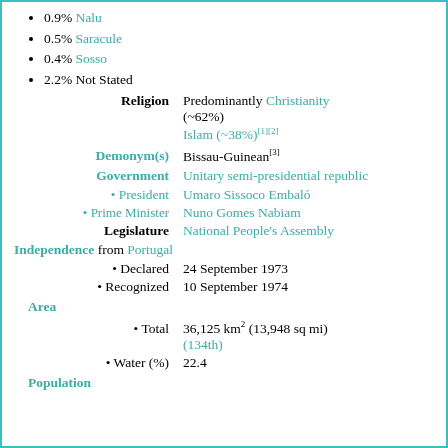0.9% Nalu
0.5% Saracule
0.4% Sosso
2.2% Not Stated
| Field | Value |
| --- | --- |
| Religion | Predominantly Christianity (~62%) Islam (~38%)[1][2] |
| Demonym(s) | Bissau-Guinean[3] |
| Government | Unitary semi-presidential republic |
| • President | Umaro Sissoco Embaló |
| • Prime Minister | Nuno Gomes Nabiam |
| Legislature | National People's Assembly |
| Independence from Portugal |  |
| • Declared | 24 September 1973 |
| • Recognized | 10 September 1974 |
Area
Total: 36,125 km2 (13,948 sq mi) (134th)
Water (%): 22.4
Population